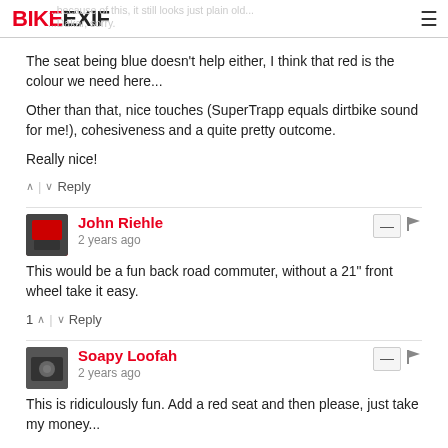BIKEEXIF
The seat being blue doesn't help either, I think that red is the colour we need here...
Other than that, nice touches (SuperTrapp equals dirtbike sound for me!), cohesiveness and a quite pretty outcome.
Really nice!
^ | v Reply
John Riehle
2 years ago
This would be a fun back road commuter, without a 21" front wheel take it easy.
1 ^ | v Reply
Soapy Loofah
2 years ago
This is ridiculously fun. Add a red seat and then please, just take my money...